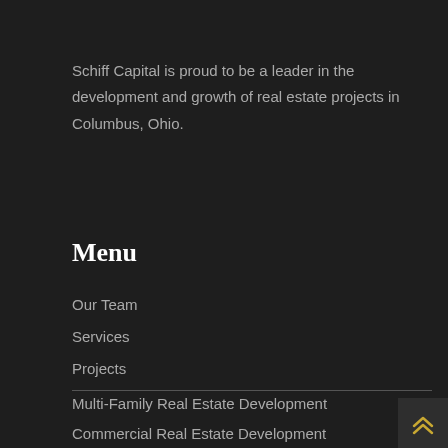Schiff Capital is proud to be a leader in the development and growth of real estate projects in Columbus, Ohio.
Menu
Our Team
Services
Projects
Multi-Family Real Estate Development
Commercial Real Estate Development